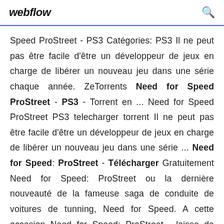webflow
Speed ProStreet - PS3 Catégories: PS3 Il ne peut pas être facile d'être un développeur de jeux en charge de libérer un nouveau jeu dans une série chaque année. ZeTorrents Need for Speed ProStreet - PS3 - Torrent en ... Need for Speed ProStreet PS3 telecharger torrent Il ne peut pas être facile d'être un développeur de jeux en charge de libérer un nouveau jeu dans une série ... Need for Speed: ProStreet - Télécharger Gratuitement Need for Speed: ProStreet ou la dernière nouveauté de la fameuse saga de conduite de voitures de tunning, Need for Speed. A cette occasion Need for Speed: ProStreet , laisse de côté les courses illégales de rues pour se concentrer